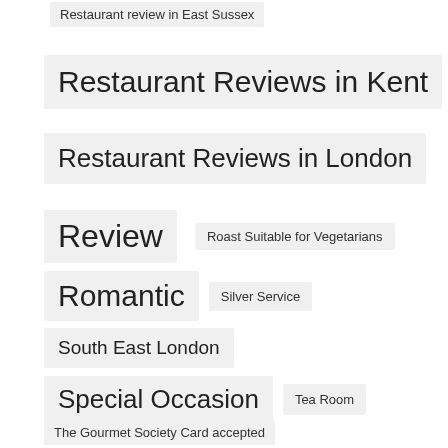Restaurant review in East Sussex
Restaurant Reviews in Kent
Restaurant Reviews in London
Review
Roast Suitable for Vegetarians
Romantic
Silver Service
South East London
Special Occasion
Tea Room
The Gourmet Society Card accepted
Top Rated
top rated restaurant